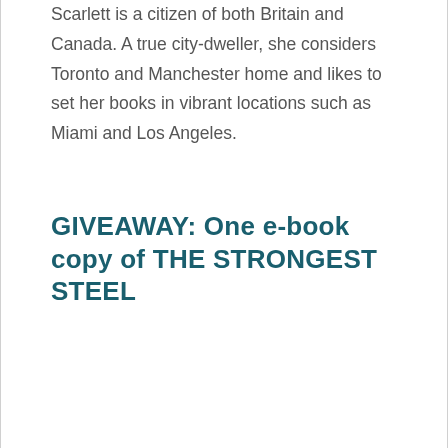Scarlett is a citizen of both Britain and Canada. A true city-dweller, she considers Toronto and Manchester home and likes to set her books in vibrant locations such as Miami and Los Angeles.
GIVEAWAY: One e-book copy of THE STRONGEST STEEL